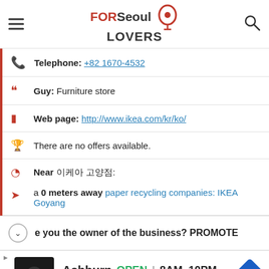FORSeoul LOVERS
Telephone: +82 1670-4532
Guy: Furniture store
Web page: http://www.ikea.com/kr/ko/
There are no offers available.
Near 이케아 고양점:
a 0 meters away paper recycling companies: IKEA Goyang
Are you the owner of the business? PROMOTE
Ashburn  OPEN  8AM–10PM  44110 Ashburn Shopping Plaza, ..